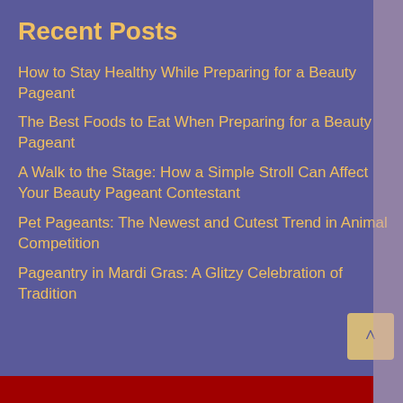Recent Posts
How to Stay Healthy While Preparing for a Beauty Pageant
The Best Foods to Eat When Preparing for a Beauty Pageant
A Walk to the Stage: How a Simple Stroll Can Affect Your Beauty Pageant Contestant
Pet Pageants: The Newest and Cutest Trend in Animal Competition
Pageantry in Mardi Gras: A Glitzy Celebration of Tradition